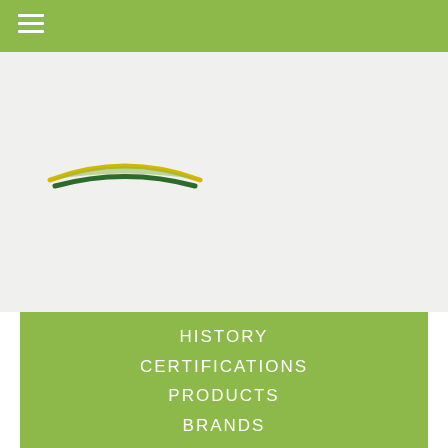[Figure (logo): Company logo: two curved swoosh shapes, one yellow and one dark green, forming a leaf or horizon shape]
HISTORY
CERTIFICATIONS
PRODUCTS
BRANDS
WHERE